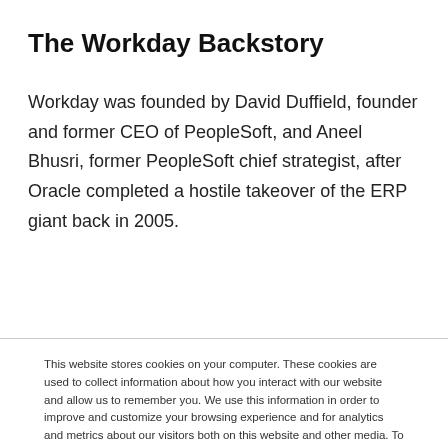The Workday Backstory
Workday was founded by David Duffield, founder and former CEO of PeopleSoft, and Aneel Bhusri, former PeopleSoft chief strategist, after Oracle completed a hostile takeover of the ERP giant back in 2005.
This website stores cookies on your computer. These cookies are used to collect information about how you interact with our website and allow us to remember you. We use this information in order to improve and customize your browsing experience and for analytics and metrics about our visitors both on this website and other media. To find out more about the cookies we use, see our Privacy Policy. California residents have the right to direct us not to sell their personal information to third parties by filing an Opt-Out Request: Do Not Sell My Personal Info.